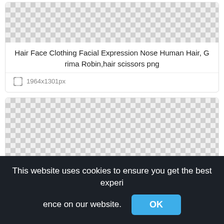[Figure (screenshot): Checkerboard transparency pattern at top of image card]
Hair Face Clothing Facial Expression Nose Human Hair, G rima Robin,hair scissors png
1964x1301px
[Figure (screenshot): Checkerboard transparency pattern for second image card]
This website uses cookies to ensure you get the best experience on our website.